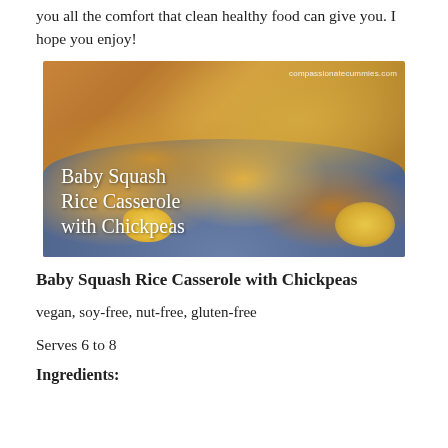you all the comfort that clean healthy food can give you. I hope you enjoy!
[Figure (photo): Food photo of Baby Squash Rice Casserole with Chickpeas on a blue plate, showing rice, squash pieces, and chickpeas. Watermark: compassionatecummies.com. Text overlay reading 'Baby Squash Rice Casserole with Chickpeas']
Baby Squash Rice Casserole with Chickpeas
vegan, soy-free, nut-free, gluten-free
Serves 6 to 8
Ingredients: